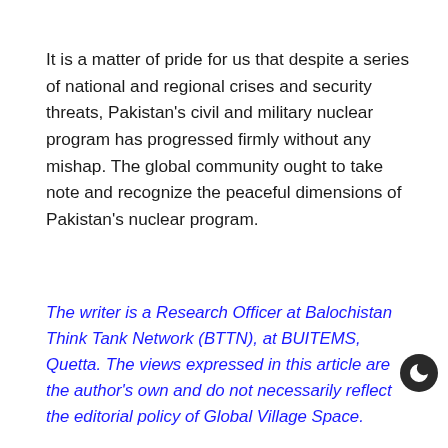It is a matter of pride for us that despite a series of national and regional crises and security threats, Pakistan's civil and military nuclear program has progressed firmly without any mishap. The global community ought to take note and recognize the peaceful dimensions of Pakistan's nuclear program.
The writer is a Research Officer at Balochistan Think Tank Network (BTTN), at BUITEMS, Quetta. The views expressed in this article are the author's own and do not necessarily reflect the editorial policy of Global Village Space.